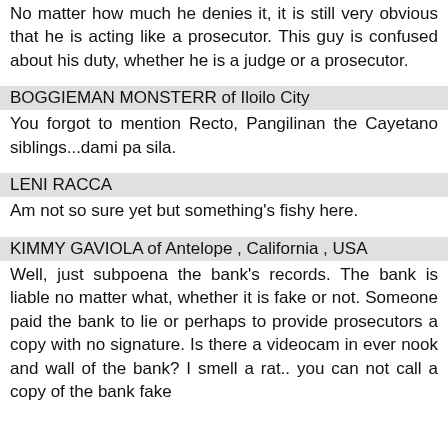No matter how much he denies it, it is still very obvious that he is acting like a prosecutor. This guy is confused about his duty, whether he is a judge or a prosecutor.
BOGGIEMAN MONSTERR of Iloilo City
You forgot to mention Recto, Pangilinan the Cayetano siblings...dami pa sila.
LENI RACCA
Am not so sure yet but something's fishy here.
KIMMY GAVIOLA of Antelope , California , USA
Well, just subpoena the bank's records. The bank is liable no matter what, whether it is fake or not. Someone paid the bank to lie or perhaps to provide prosecutors a copy with no signature. Is there a videocam in ever nook and wall of the bank? I smell a rat.. you can not call a copy of the bank fake